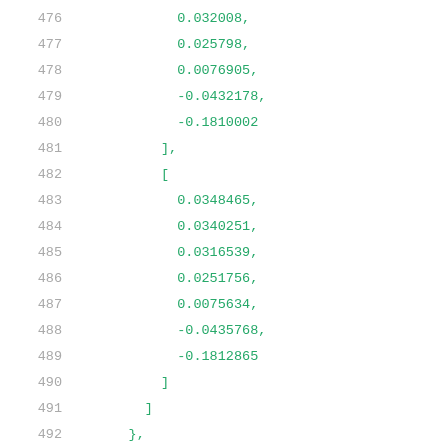476    0.032008,
477    0.025798,
478    0.0076905,
479    -0.0432178,
480    -0.1810002
481    ],
482    [
483    0.0348465,
484    0.0340251,
485    0.0316539,
486    0.0251756,
487    0.0075634,
488    -0.0435768,
489    -0.1812865
490    ]
491    ]
492    },
493    "related_pin": "A",
494    "rise_power,power_outputs_1": {
495    "index_1": [
496    0.01,